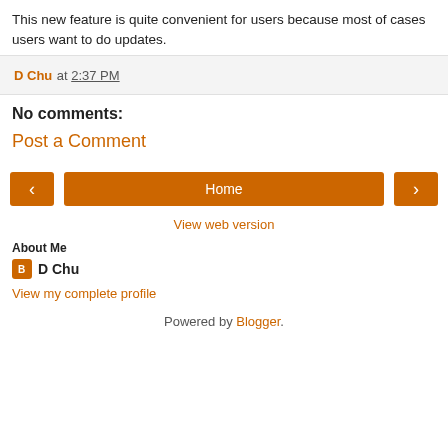This new feature is quite convenient for users because most of cases users want to do updates.
D Chu at 2:37 PM
No comments:
Post a Comment
[Figure (other): Navigation bar with left arrow button, Home button, and right arrow button]
View web version
About Me
D Chu
View my complete profile
Powered by Blogger.